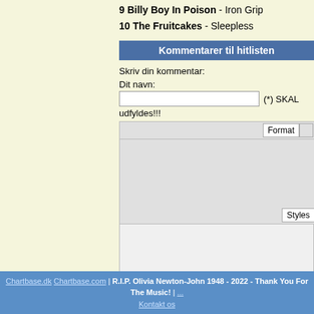9 Billy Boy In Poison - Iron Grip
10 The Fruitcakes - Sleepless
Kommentarer til hitlisten
Skriv din kommentar:
Dit navn:
(*) SKAL udfyldes!!!
Format
Styles
Path:
Send
Chartbase.dk Chartbase.com | R.I.P. Olivia Newton-John 1948 - 2022 - Thank You For The Music! | Kontakt os